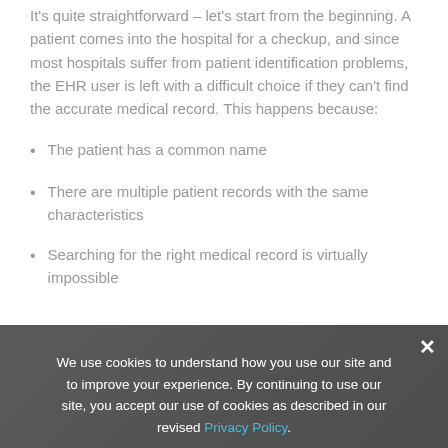It's quite straightforward – let's start from the beginning. A patient comes into the hospital for a checkup, and since most hospitals suffer from patient identification problems, the EHR user is left with a difficult choice if they can't find the accurate medical record. This happens because:
The patient has a common name
There are multiple patient records with the same characteristics
Searching for the right medical record is virtually impossible
We use cookies to understand how you use our site and to improve your experience. By continuing to use our site, you accept our use of cookies as described in our revised Privacy Policy.